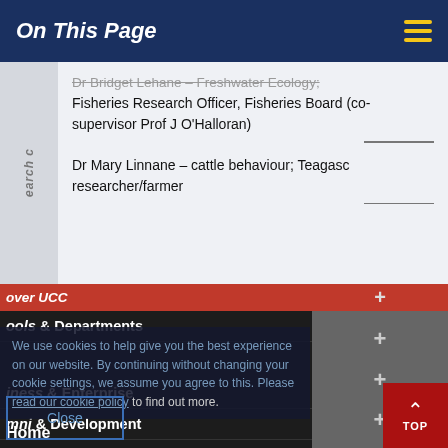On This Page
Dr Bridget Lehane – Freshwater Ecology; Fisheries Research Officer, Fisheries Board (co-supervisor Prof J O'Halloran)
Dr Mary Linnane – cattle behaviour; Teagasc researcher/farmer
Discover UCC
Schools & Departments
We use cookies to help give you the best experience on our website. By continuing without changing your cookie settings, we assume you agree to this. Please read our cookie policy to find out more.
Business & Enterprise
Alumni & Development
Home